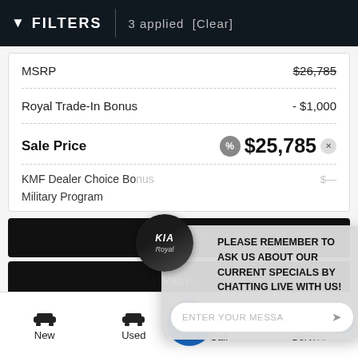FILTERS | 3 applied [Clear]
| Item | Price |
| --- | --- |
| MSRP | $26,785 |
| Royal Trade-In Bonus | - $1,000 |
| Sale Price | $25,785 |
| KMF Dealer Choice Bonus |  |
| Military Program |  |
Explore
Value
[Figure (screenshot): Chat popup overlay with Kia/Royal logo, message: PLEASE REMEMBER TO ASK US ABOUT OUR CURRENT SPECIALS BY CHATTING LIVE WITH US!, and ENTER YOUR MESSAGE input field]
New | Used | Call | Service